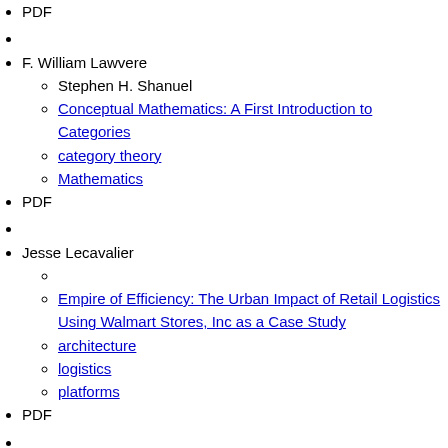PDF
F. William Lawvere
Stephen H. Shanuel
Conceptual Mathematics: A First Introduction to Categories
category theory
Mathematics
PDF
Jesse Lecavalier
Empire of Efficiency: The Urban Impact of Retail Logistics Using Walmart Stores, Inc as a Case Study
architecture
logistics
platforms
PDF
Alain Lecomte
Meaning, Logic and Ludics
Computation
logic
semantics